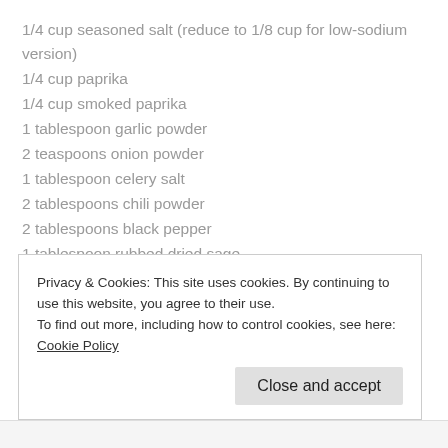1/4 cup seasoned salt (reduce to 1/8 cup for low-sodium version)
1/4 cup paprika
1/4 cup smoked paprika
1 tablespoon garlic powder
2 teaspoons onion powder
1 tablespoon celery salt
2 tablespoons chili powder
2 tablespoons black pepper
1 tablespoon rubbed dried sage
1 teaspoon ground allspice
1 teaspoon ground cumin
1/4 teaspoon cayenne
1/4 teaspoon ground mace
1/8 teaspoon ground cloves
Privacy & Cookies: This site uses cookies. By continuing to use this website, you agree to their use. To find out more, including how to control cookies, see here: Cookie Policy
Close and accept